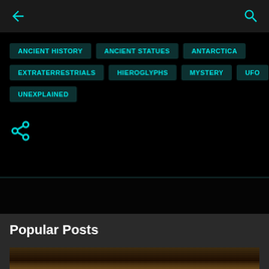← (back) | (search)
ANCIENT HISTORY
ANCIENT STATUES
ANTARCTICA
EXTRATERRESTRIALS
HIEROGLYPHS
MYSTERY
UFO
UNEXPLAINED
[Figure (other): Share icon (network/share symbol) in cyan]
Popular Posts
[Figure (photo): Partially visible thumbnail image of an ancient stone or artifact texture, dark brownish tones]